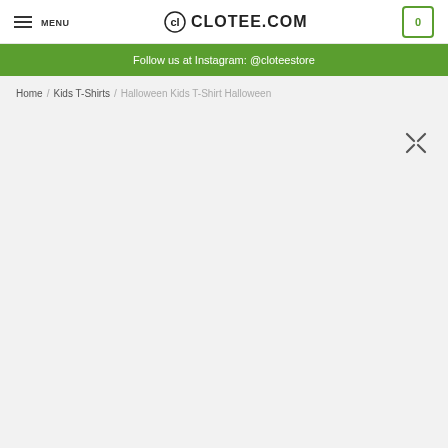MENU | CLOTEE.COM | 0
Follow us at Instagram: @cloteestore
Home / Kids T-Shirts / Halloween Kids T-Shirt Halloween
[Figure (other): Product image area with expand/zoom button]